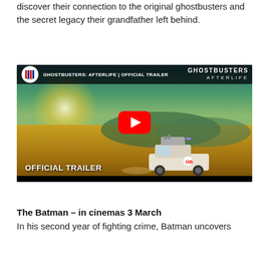discover their connection to the original ghostbusters and the secret legacy their grandfather left behind.
[Figure (screenshot): YouTube video thumbnail for Ghostbusters: Afterlife Official Trailer showing a ghostbusters vehicle driving through a golden field, with Sony Pictures logo, play button, and 'OFFICIAL TRAILER' text overlay. The video title bar reads 'GHOSTBUSTERS: AFTERLIFE' and the channel logo area shows a ghostbusters logo.]
The Batman – in cinemas 3 March
In his second year of fighting crime, Batman uncovers